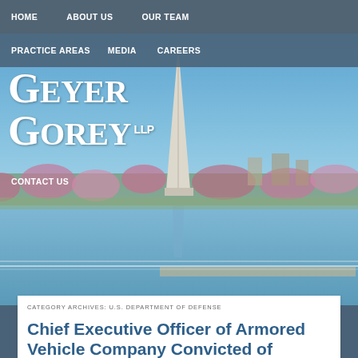HOME   ABOUT US   OUR TEAM
PRACTICE AREAS   MEDIA   CAREERS
CONTACT US
[Figure (photo): Aerial/waterfront photo of Washington DC showing the Washington Monument reflected in the Tidal Basin with cherry blossoms along the shore. Geyer Gorey LLP law firm logo overlaid in white serif text.]
CATEGORY ARCHIVES: U.S. DEPARTMENT OF DEFENSE
Chief Executive Officer of Armored Vehicle Company Convicted of Defrauding the